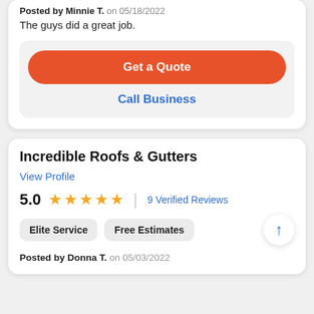Posted by Minnie T. on 05/18/2022
The guys did a great job.
Get a Quote
Call Business
Incredible Roofs & Gutters
View Profile
5.0 ★★★★★ | 9 Verified Reviews
Elite Service
Free Estimates
Posted by Donna T. on 05/03/2022